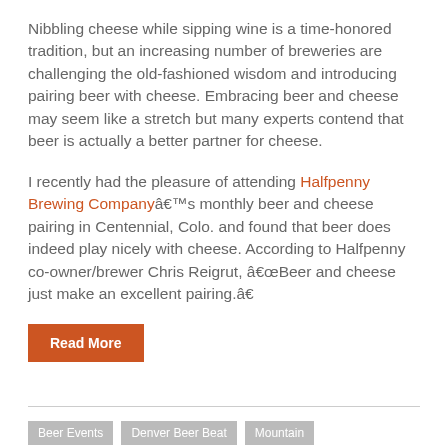Nibbling cheese while sipping wine is a time-honored tradition, but an increasing number of breweries are challenging the old-fashioned wisdom and introducing pairing beer with cheese. Embracing beer and cheese may seem like a stretch but many experts contend that beer is actually a better partner for cheese.
I recently had the pleasure of attending Halfpenny Brewing Companyâs monthly beer and cheese pairing in Centennial, Colo. and found that beer does indeed play nicely with cheese. According to Halfpenny co-owner/brewer Chris Reigrut, âBeer and cheese just make an excellent pairing.â
Read More
Beer Events | Denver Beer Beat | Mountain